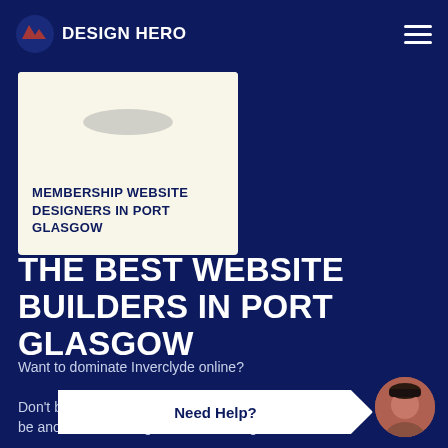DESIGN HERO
[Figure (screenshot): White card with oval placeholder image and text 'MEMBERSHIP WEBSITE DESIGNERS IN PORT GLASGOW']
THE BEST WEBSITE BUILDERS IN PORT GLASGOW
Want to dominate Inverclyde online?
Don't be tri... be another web designer in Port Glasgow offe...
Need Help?